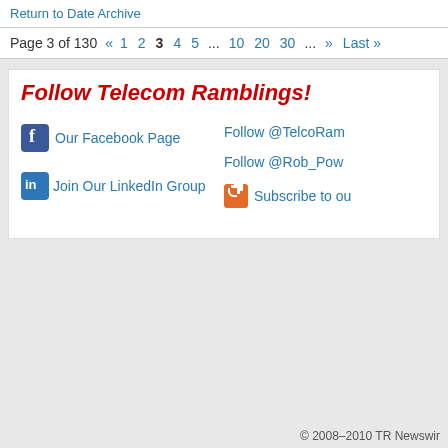Return to Date Archive
Page 3 of 130 « 1 2 3 4 5 ... 10 20 30 ... » Last »
Follow Telecom Ramblings!
Our Facebook Page
Follow @TelcoRam
Follow @Rob_Pow
Join Our LinkedIn Group
Subscribe to ou
© 2008–2010 TR Newswir